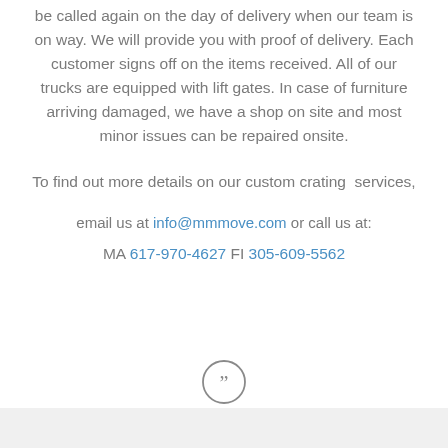be called again on the day of delivery when our team is on way. We will provide you with proof of delivery. Each customer signs off on the items received. All of our trucks are equipped with lift gates. In case of furniture arriving damaged, we have a shop on site and most minor issues can be repaired onsite.
To find out more details on our custom crating  services,
email us at info@mmmove.com or call us at:
MA 617-970-4627 FI 305-609-5562
[Figure (illustration): Closing quotation mark icon inside a circle, above a grey bar at the bottom of the page]